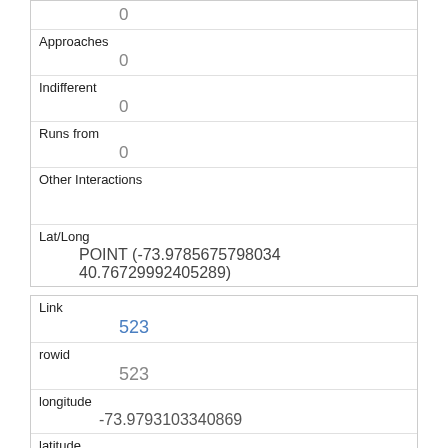| 0 |
| Approaches | 0 |
| Indifferent | 0 |
| Runs from | 0 |
| Other Interactions |  |
| Lat/Long | POINT (-73.9785675798034 40.76729924 05289) |
| Link | 523 |
| rowid | 523 |
| longitude | -73.9793103340869 |
| latitude | 40.767820153596794 |
| Unique Squirrel ID |  |